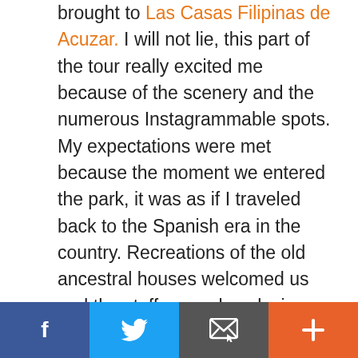brought to Las Casas Filipinas de Acuzar. I will not lie, this part of the tour really excited me because of the scenery and the numerous Instagrammable spots. My expectations were met because the moment we entered the park, it was as if I traveled back to the Spanish era in the country. Recreations of the old ancestral houses welcomed us and the staff were also playing the part in their Filipinianas.
Social share bar with Facebook, Twitter, Email, and Plus buttons